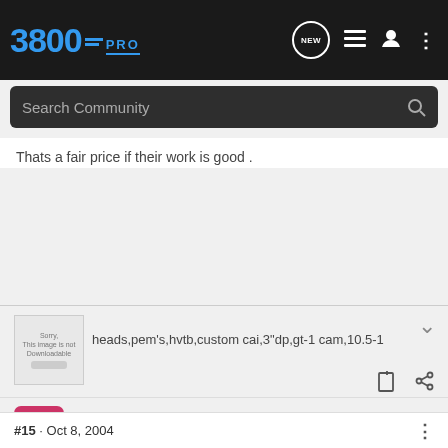3800PRO
Search Community
Thats a fair price if their work is good .
[Figure (screenshot): Small forum user avatar thumbnail image placeholder]
heads,pem's,hvtb,custom cai,3"dp,gt-1 cam,10.5-1
MikeGS · Registered
Joined Sep 26, 2004 · 441 Posts
#15 · Oct 8, 2004